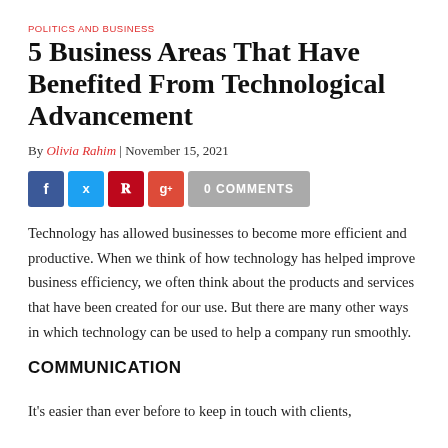POLITICS AND BUSINESS
5 Business Areas That Have Benefited From Technological Advancement
By Olivia Rahim | November 15, 2021
[Figure (infographic): Social media share buttons: Facebook (blue), Twitter (light blue), Pinterest (red), Google+ (red-orange), and a gray '0 COMMENTS' button]
Technology has allowed businesses to become more efficient and productive. When we think of how technology has helped improve business efficiency, we often think about the products and services that have been created for our use. But there are many other ways in which technology can be used to help a company run smoothly.
COMMUNICATION
It's easier than ever before to keep in touch with clients,